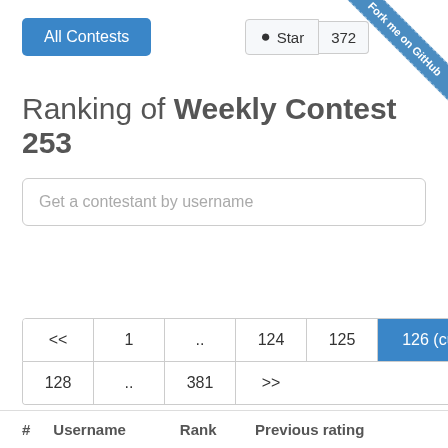[Figure (screenshot): UI screenshot of a contest ranking web page with navigation, search bar, pagination, and country filter]
All Contests
⭑ Star
372
Fork me on GitHub
Ranking of Weekly Contest 253
Get a contestant by username
Search
<< 1 .. 124 125 126 (current) 127 128 .. 381 >>
Country
All
# Username Rank Previous rating ...